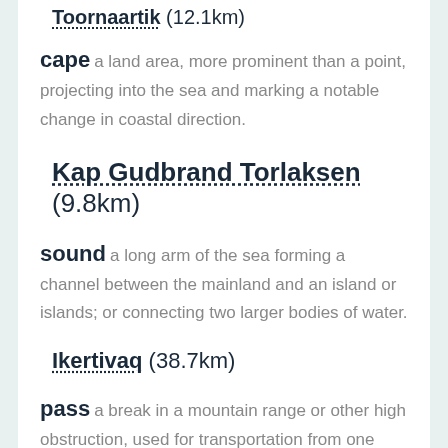Toornaartik (12.1km)
cape a land area, more prominent than a point, projecting into the sea and marking a notable change in coastal direction.
Kap Gudbrand Torlaksen (9.8km)
sound a long arm of the sea forming a channel between the mainland and an island or islands; or connecting two larger bodies of water.
Ikertivaq (38.7km)
pass a break in a mountain range or other high obstruction, used for transportation from one side to the other [See also gap].